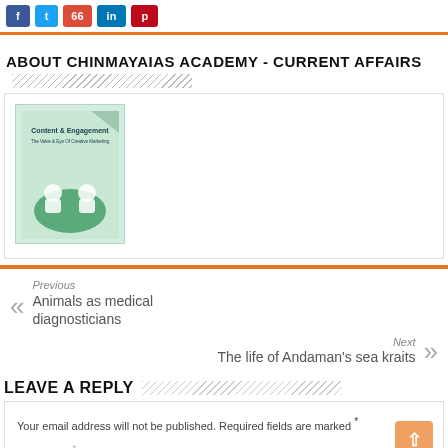[Figure (other): Social share buttons: Facebook (blue), Twitter (light blue), Google+ (red, count shown), LinkedIn (blue), Pinterest (red)]
ABOUT CHINMAYAIAS ACADEMY - CURRENT AFFAIRS
[Figure (illustration): Book cover image for Content & Engagement: The Valve & Eye Of Creative Marketing, green illustrated cover]
Previous
Animals as medical diagnosticians
Next
The life of Andaman's sea kraits
LEAVE A REPLY
Your email address will not be published. Required fields are marked *
Comment *